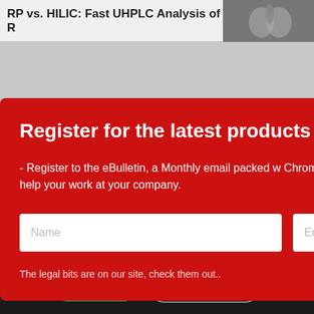RP vs. HILIC: Fast UHPLC Analysis of R
Register for the latest products by
- Register to the eBulletin, a Monthly email packed w Chromatography products, news and services. Its FR help your work at your company.
Name
Email address
The legal bits are on our site, check them out..
I AGREE
DECLINE ALL
Applications